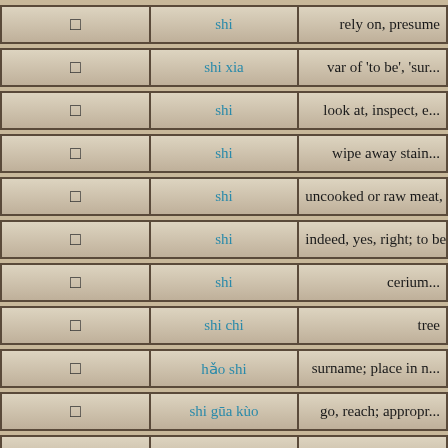| char | pinyin | definition |
| --- | --- | --- |
| □ | shi | rely on, presume |
| □ | shi xia | var of 'to be', 'sur... |
| □ | shi | look at, inspect, e... |
| □ | shi | wipe away stain... |
| □ | shi | uncooked or raw meat, an org... |
| □ | shi | indeed, yes, right; to be; demon... |
| □ | shi | cerium... |
| □ | shi chi | tree |
| □ | hǎo shi | surname; place in n... |
| □ | shi gūa kùo | go, reach; appropr... |
| □ | shi | horizontal woode... |
| □ | shi | lick with t... |